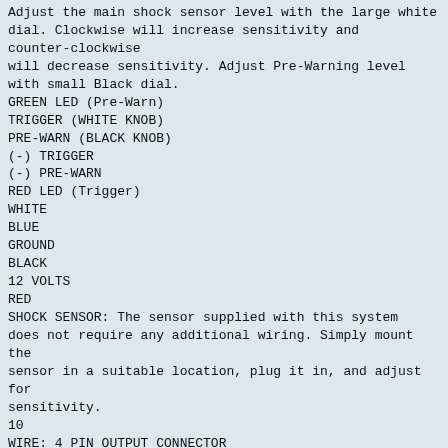Adjust the main shock sensor level with the large white dial. Clockwise will increase sensitivity and counter-clockwise
will decrease sensitivity. Adjust Pre-Warning level with small Black dial.
GREEN LED (Pre-Warn)
TRIGGER (WHITE KNOB)
PRE-WARN (BLACK KNOB)
(-) TRIGGER
(-) PRE-WARN
RED LED (Trigger)
WHITE
BLUE
GROUND
BLACK
12 VOLTS
RED
SHOCK SENSOR: The sensor supplied with this system does not require any additional wiring. Simply mount the
sensor in a suitable location, plug it in, and adjust for
sensitivity.
10
WIRE: 4 PIN OUTPUT CONNECTOR
BLUE/ORANGE: (-) STARTER #3
This wire provides a ground output for vehicle that requires a third starter wire to remote start.
BLUE/ORANGE
CONNECT TO IGN
85
86
30